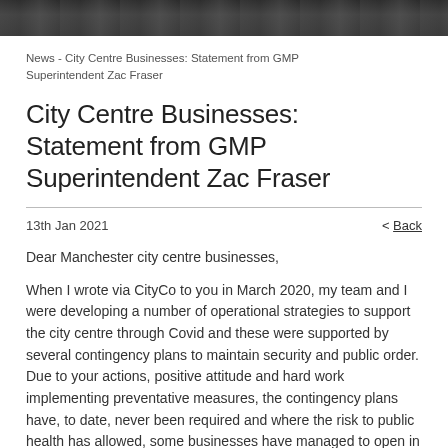[Figure (photo): Dark banner photo of a city street or building exterior at night, used as a header image]
News - City Centre Businesses: Statement from GMP Superintendent Zac Fraser
City Centre Businesses: Statement from GMP Superintendent Zac Fraser
13th Jan 2021
< Back
Dear Manchester city centre businesses,
When I wrote via CityCo to you in March 2020, my team and I were developing a number of operational strategies to support the city centre through Covid and these were supported by several contingency plans to maintain security and public order. Due to your actions, positive attitude and hard work implementing preventative measures, the contingency plans have, to date, never been required and where the risk to public health has allowed, some businesses have managed to open in a limited capacity, for your work in enabling that in a safe